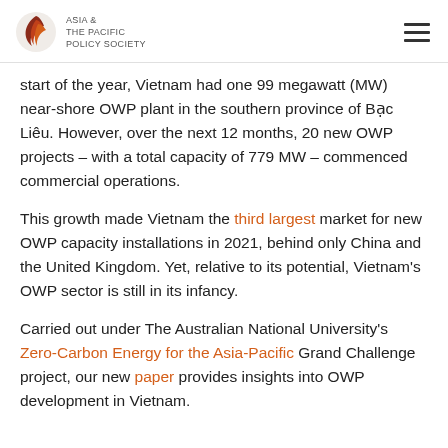ASIA & THE PACIFIC POLICY SOCIETY
start of the year, Vietnam had one 99 megawatt (MW) near-shore OWP plant in the southern province of Bạc Liêu. However, over the next 12 months, 20 new OWP projects – with a total capacity of 779 MW – commenced commercial operations.
This growth made Vietnam the third largest market for new OWP capacity installations in 2021, behind only China and the United Kingdom. Yet, relative to its potential, Vietnam's OWP sector is still in its infancy.
Carried out under The Australian National University's Zero-Carbon Energy for the Asia-Pacific Grand Challenge project, our new paper provides insights into OWP development in Vietnam.